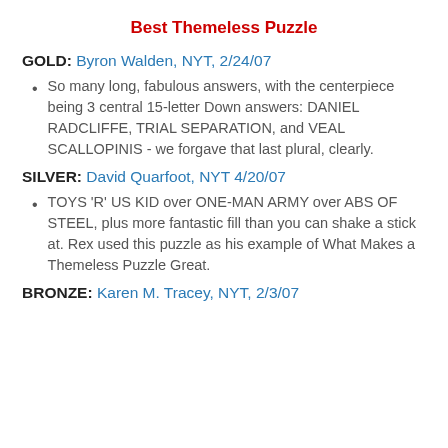Best Themeless Puzzle
GOLD: Byron Walden, NYT, 2/24/07
So many long, fabulous answers, with the centerpiece being 3 central 15-letter Down answers: DANIEL RADCLIFFE, TRIAL SEPARATION, and VEAL SCALLOPINIS - we forgave that last plural, clearly.
SILVER: David Quarfoot, NYT 4/20/07
TOYS 'R' US KID over ONE-MAN ARMY over ABS OF STEEL, plus more fantastic fill than you can shake a stick at. Rex used this puzzle as his example of What Makes a Themeless Puzzle Great.
BRONZE: Karen M. Tracey, NYT, 2/3/07